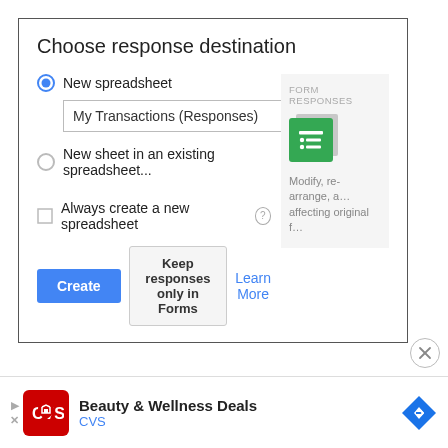Choose response destination
New spreadsheet
My Transactions (Responses)
New sheet in an existing spreadsheet...
[Figure (screenshot): Google Sheets icon with 'FORM RESPONSES' label and text 'Modify, re-arrange, a... affecting original f...']
Always create a new spreadsheet ?
Create | Keep responses only in Forms | Learn More
[Figure (other): Close (X) circular button]
[Figure (other): CVS advertisement banner: 'Beauty & Wellness Deals' with CVS logo and blue diamond navigation icon]